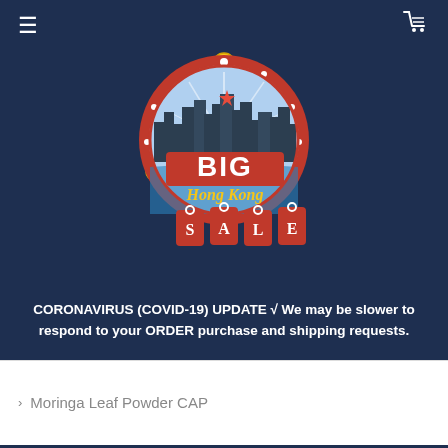[Figure (logo): Big Hong Kong Sale logo — circular red badge with city skyline, coins flying around, text BIG in white bold letters, Hong Kong in gold script, and three red price tags below spelling SALE]
CORONAVIRUS (COVID-19) UPDATE √ We may be slower to respond to your ORDER purchase and shipping requests.
› Moringa Leaf Powder CAP